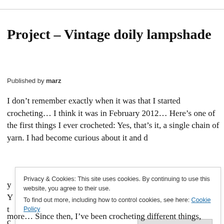Project – Vintage doily lampshade
Published by marz
I don't remember exactly when it was that I started crocheting… I think it was in February 2012… Here's one of the first things I ever crocheted: Yes, that's it, a single chain of yarn. I had become curious about it and d
Privacy & Cookies: This site uses cookies. By continuing to use this website, you agree to their use.
To find out more, including how to control cookies, see here: Cookie Policy
more… Since then, I've been crocheting different things,